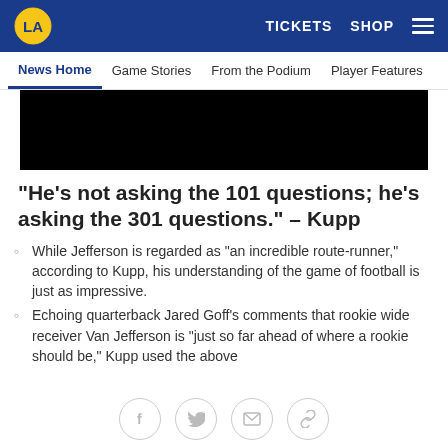LA Rams header navigation with TICKETS, SHOP, menu
News Home | Game Stories | From the Podium | Player Features
[Figure (photo): Black image area (partially visible media content)]
"He's not asking the 101 questions; he's asking the 301 questions." – Kupp
While Jefferson is regarded as "an incredible route-runner," according to Kupp, his understanding of the game of football is just as impressive.
Echoing quarterback Jared Goff's comments that rookie wide receiver Van Jefferson is "just so far ahead of where a rookie should be," Kupp used the above